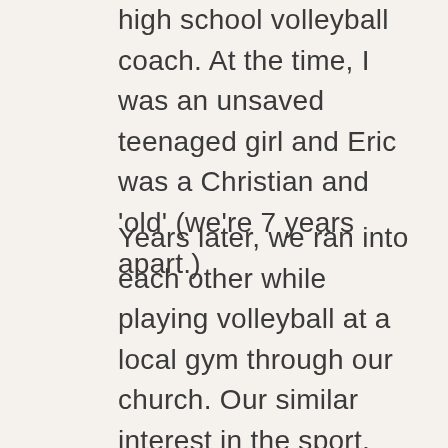high school volleyball coach. At the time, I was an unsaved teenaged girl and Eric was a Christian and 'old' (we're 7 years apart.)
Years later, we ran into each other while playing volleyball at a local gym through our church. Our similar interest in the sport, now coupled with me being born-again, and the two of us attending the same church, just so happened to foster a friendship between us.
But living life as a married couple and raising children has a way of crushing our friendship if we're not careful.